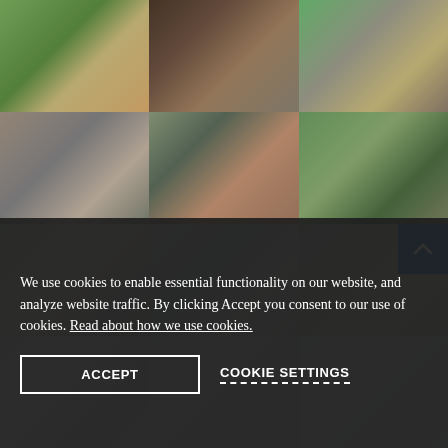[Figure (photo): Grid of landscape/hardscape photos showing lawn, driveway, pavers, and outdoor spaces]
We use cookies to enable essential functionality on our website, and analyze website traffic. By clicking Accept you consent to our use of cookies. Read about how we use cookies.
ACCEPT
COOKIE SETTINGS